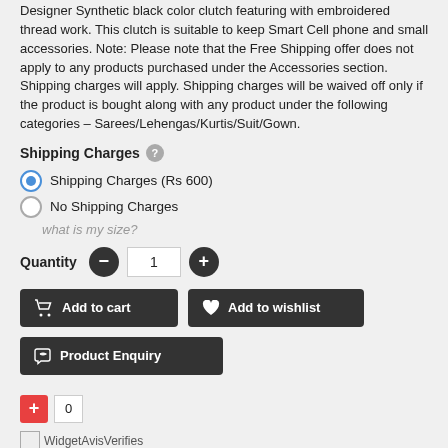Designer Synthetic black color clutch featuring with embroidered thread work. This clutch is suitable to keep Smart Cell phone and small accessories. Note: Please note that the Free Shipping offer does not apply to any products purchased under the Accessories section. Shipping charges will apply. Shipping charges will be waived off only if the product is bought along with any product under the following categories – Sarees/Lehengas/Kurtis/Suit/Gown.
Shipping Charges
Shipping Charges (Rs 600)
No Shipping Charges
what is my size?
Quantity 1
[Figure (screenshot): Add to cart and Add to wishlist buttons]
[Figure (screenshot): Product Enquiry button]
0
WidgetAvisVerifies
RECENTLY VIEWED PRODUCTS